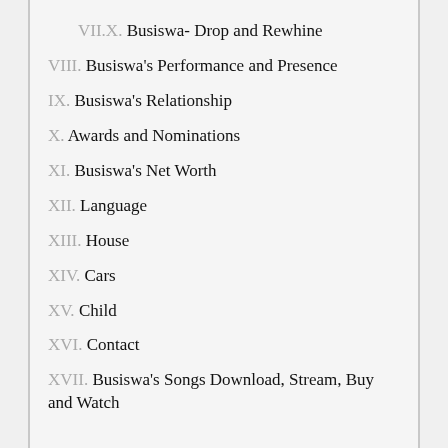VII.X. Busiswa- Drop and Rewhine
VIII. Busiswa's Performance and Presence
IX. Busiswa's Relationship
X. Awards and Nominations
XI. Busiswa's Net Worth
XII. Language
XIII. House
XIV. Cars
XV. Child
XVI. Contact
XVII. Busiswa's Songs Download, Stream, Buy and Watch